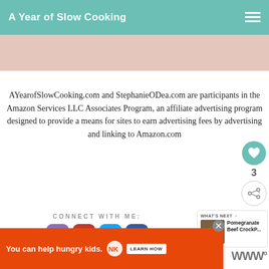A Year of Slow Cooking
AYearofSlowCooking.com and StephanieODea.com are participants in the Amazon Services LLC Associates Program, an affiliate advertising program designed to provide a means for sites to earn advertising fees by advertising and linking to Amazon.com
CONNECT WITH ME:
[Figure (infographic): Social media icons: email (purple), Pinterest (red), Twitter (blue), Facebook (blue)]
[Figure (infographic): Heart/like button with count 3 and share button]
[Figure (infographic): What's Next panel with food image thumbnail and text 'Pomegranate Beef CrockP...']
AS FEATURED ON
[Figure (infographic): Advertisement banner: orange background, 'You can help hungry kids.' No Kid Hungry logo, LEARN HOW button, close X button]
[Figure (logo): Triple W logo with superscript zero]